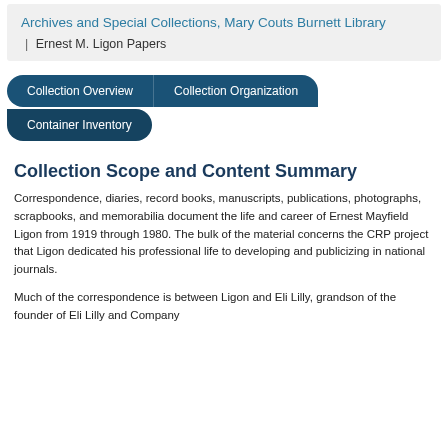Archives and Special Collections, Mary Couts Burnett Library | Ernest M. Ligon Papers
Collection Scope and Content Summary
Correspondence, diaries, record books, manuscripts, publications, photographs, scrapbooks, and memorabilia document the life and career of Ernest Mayfield Ligon from 1919 through 1980. The bulk of the material concerns the CRP project that Ligon dedicated his professional life to developing and publicizing in national journals.
Much of the correspondence is between Ligon and Eli Lilly, grandson of the founder of Eli Lilly and Company...